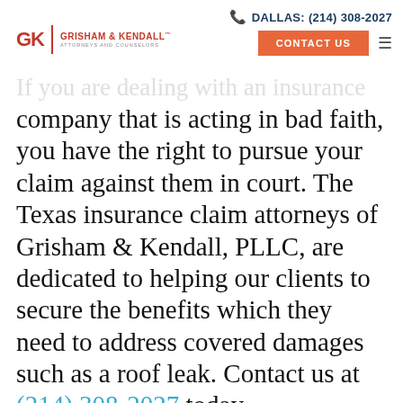DALLAS: (214) 308-2027 | CONTACT US | Grisham & Kendall Attorneys and Counselors
through a civil lawsuit
If you are dealing with an insurance company that is acting in bad faith, you have the right to pursue your claim against them in court. The Texas insurance claim attorneys of Grisham & Kendall, PLLC, are dedicated to helping our clients to secure the benefits which they need to address covered damages such as a roof leak. Contact us at (214) 308-2027 today. There are numerous possible causes for a roof leak, and if your insurance policy